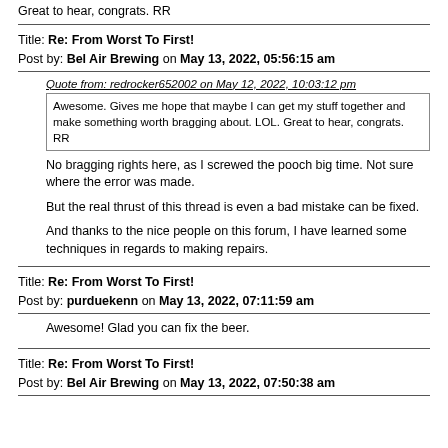Great to hear, congrats.  RR
Title: Re: From Worst To First!
Post by: Bel Air Brewing on May 13, 2022, 05:56:15 am
Quote from: redrocker652002 on May 12, 2022, 10:03:12 pm
Awesome.   Gives me hope that maybe I can get my stuff together and make something worth bragging about.  LOL.  Great to hear, congrats.  RR
No bragging rights here, as I screwed the pooch big time. Not sure where the error was made.
But the real thrust of this thread is even a bad mistake can be fixed.
And thanks to the nice people on this forum, I have learned some techniques in regards to making repairs.
Title: Re: From Worst To First!
Post by: purduekenn on May 13, 2022, 07:11:59 am
Awesome! Glad you can fix the beer.
Title: Re: From Worst To First!
Post by: Bel Air Brewing on May 13, 2022, 07:50:38 am